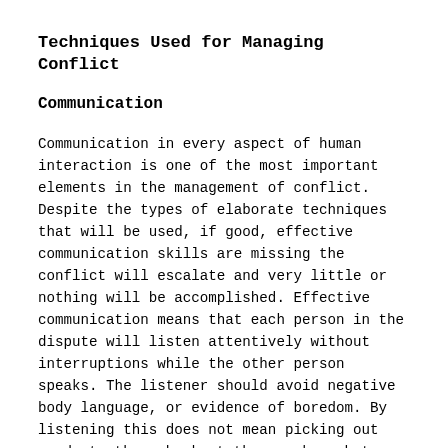Techniques Used for Managing Conflict
Communication
Communication in every aspect of human interaction is one of the most important elements in the management of conflict. Despite the types of elaborate techniques that will be used, if good, effective communication skills are missing the conflict will escalate and very little or nothing will be accomplished. Effective communication means that each person in the dispute will listen attentively without interruptions while the other person speaks. The listener should avoid negative body language, or evidence of boredom. By listening this does not mean picking out words to throw back at the speaker, but rather with perception, summarizing, clarifying and